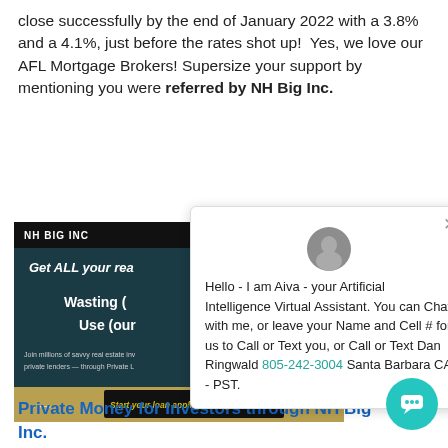close successfully by the end of January 2022 with a 3.8% and a 4.1%, just before the rates shot up!  Yes, we love our AFL Mortgage Brokers! Supersize your support by mentioning you were referred by NH Big Inc.
[Figure (screenshot): Screenshot of NH Big Inc website showing 'Get ALL your real...' headline and 'Wasting (our...' section with gold bar and 'Start your loan application right now!' button]
[Figure (screenshot): Chat popup with avatar photo of a man, close X button, text: Hello - I am Aiva - your Artificial Intelligence Virtual Assistant. You can Chat with me, or leave your Name and Cell # for us to Call or Text you, or Call or Text Dan Ringwald 805-242-3004 Santa Barbara CA - PST. Chat bubble icon in bottom right corner.]
Private Money for Investors through NH Big Inc.